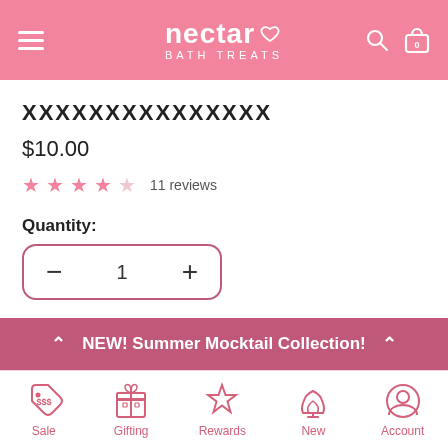nectar BATH TREATS
🅇🅇🅇🅇🅇🅇🅇🅇🅇🅇🅇🅇🅇🅇🅇
$10.00
11 reviews
Quantity:
1
NEW! Summer Mocktail Collection!
Sale  Gifting  Rewards  New  Account